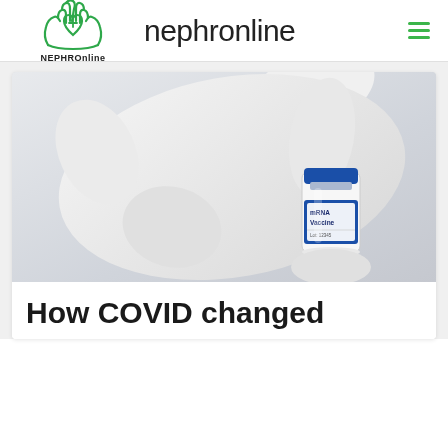[Figure (logo): NEPHROnline logo: two hands cupping a heart with a plus sign, drawn in green outline, with text NEPHROnline below]
nephronline
[Figure (photo): A gloved hand in a white medical glove holding a small glass vial labeled mRNA Vaccine against a light gray background]
How COVID changed